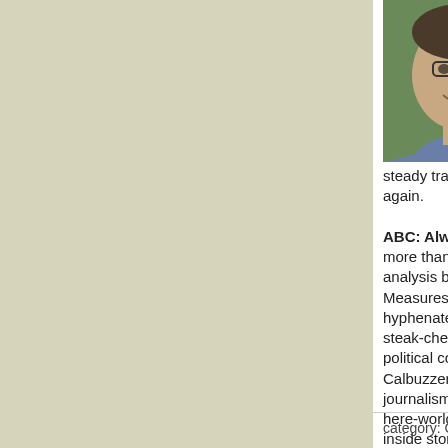[Figure (photo): Headshot of a man with glasses, smiling, wearing a blue shirt, outdoors with green background]
Arnold to abandon his ill-laid plans after more than 40 years. Reform on life support. Amid governance and budget reform. Fueled by corporate cynicism, steady transformation of democracy into a plutocracy that... again.
ABC: Always Believe Calbuzz. Reporting more than 3 million page views in 2010, an analysis by our Department of Weights and Measures advises that along with the heavily-hyphenated-meat-and-potatoes-sizzle-and-steak-cheeseburger-and-fries-day-in-day-out political coverage our readers look for, loyal Calbuzzers also count on our special-brand-of-journalism-you-won't-find-it-anywhere-but-here-world-exclusive scoops, whether it's the inside story of Jerry Brown's secret eyebrow makeover, prize winning reporting on John Burton's foul mouth or world-class forecasting on Major League Baseball (Giants win!).
With all best wishes for a happy and safe amateur night celebration, we thank you all for reading. See you in 2011.
[Figure (illustration): Cartoon illustration of a figure, partially visible in bottom right corner]
category: California Politics, Campaign Advertising, Car